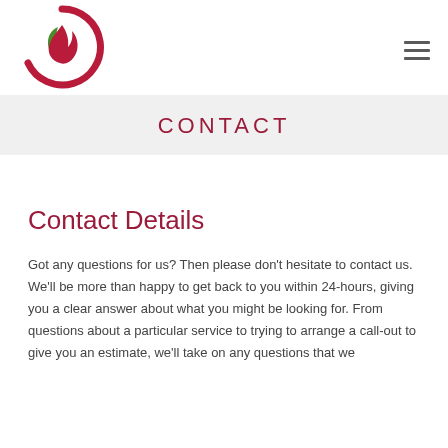[Figure (logo): Circular logo with a red flame/leaf design inside a red circle arc, company logo]
CONTACT
Contact Details
Got any questions for us? Then please don't hesitate to contact us. We'll be more than happy to get back to you within 24-hours, giving you a clear answer about what you might be looking for. From questions about a particular service to trying to arrange a call-out to give you an estimate, we'll take on any questions that we